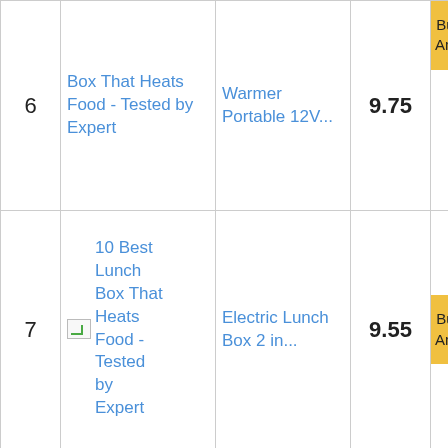| # | Name | Product | Score | Link |
| --- | --- | --- | --- | --- |
| 6 | Box That Heats Food - Tested by Expert | Warmer Portable 12V… | 9.75 | Buy on Amazon |
| 7 | 10 Best Lunch Box That Heats Food - Tested by Expert | Electric Lunch Box 2 in… | 9.55 | Buy on Amazon |